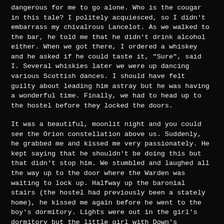dangerous for me to go alone. Who is the cougar in this tale? I politely acquiesced, so I didn't embarrass my chivalrous Lancelot. As we walked to the bar, he told me that he didn't drink alcohol either. When we got there, I ordered a whiskey and he asked if he could taste it, "Sure", said I. Several whiskies later we were up dancing various Scottish dances. I should have felt guilty about leading him astray but he was having a wonderful time. Finally, we had to head up to the hostel before they locked the doors.
It was a beautiful, moonlit night and you could see the Orion constellation above us. Suddenly, he grabbed me and kissed me very passionately. He kept saying that he shouldn't be doing this but that didn't stop him. We stumbled and laughed all the way up to the door where the Warden was waiting to lock up. Halfway up the baronial stairs (the hostel had previously been a stately home), he kissed me again before he went to the boy's dormitory. Lights were out in the girl's dormitory but the little girl with Down's syndrome must have been out in the hallway as we came up the stairs. She asked, "Is he your boyfriend?" "No, go to sleep", I replied. "Why were you kissing him, then?" Fortunately, one of her group leaders told us all to be quiet and the inquisition stopped.
The next morning I woke up with a whiskey hangover, feeling guilty